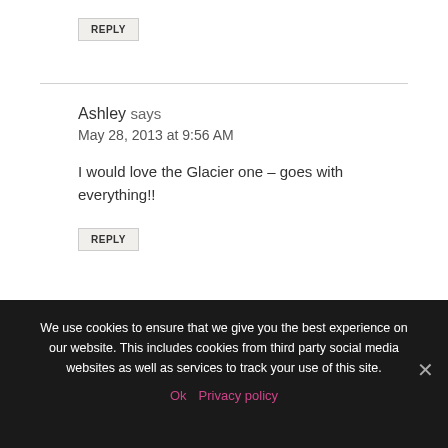REPLY
Ashley says
May 28, 2013 at 9:56 AM
I would love the Glacier one – goes with everything!!
REPLY
We use cookies to ensure that we give you the best experience on our website. This includes cookies from third party social media websites as well as services to track your use of this site.
Ok   Privacy policy